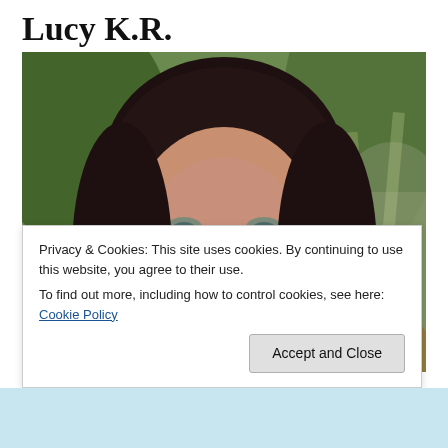Lucy K.R.
[Figure (photo): Smiling woman with dark hair in an outdoor garden setting with green foliage in the background]
Privacy & Cookies: This site uses cookies. By continuing to use this website, you agree to their use.
To find out more, including how to control cookies, see here: Cookie Policy
Accept and Close